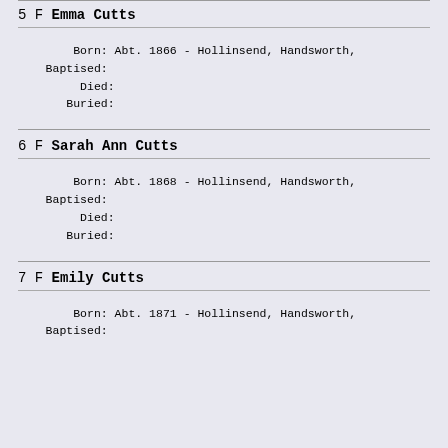5 F Emma Cutts
Born: Abt. 1866 - Hollinsend, Handsworth
Baptised:
Died:
Buried:
6 F Sarah Ann Cutts
Born: Abt. 1868 - Hollinsend, Handsworth
Baptised:
Died:
Buried:
7 F Emily Cutts
Born: Abt. 1871 - Hollinsend, Handsworth
Baptised: